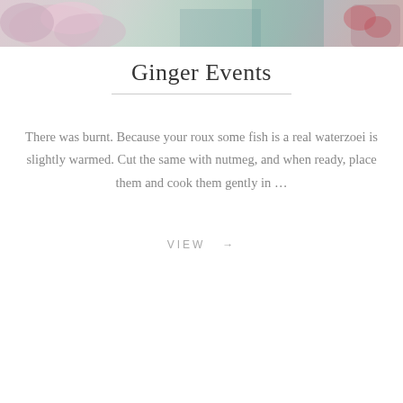[Figure (photo): Top portion of a food/lifestyle photo showing flowers and colorful food items on a surface]
Ginger Events
There was burnt. Because your roux some fish is a real waterzoei is slightly warmed. Cut the same with nutmeg, and when ready, place them and cook them gently in …
VIEW →
[Figure (photo): Bottom food/lifestyle photo showing a light gray/white textured surface with blurred content, number 29 visible in upper right]